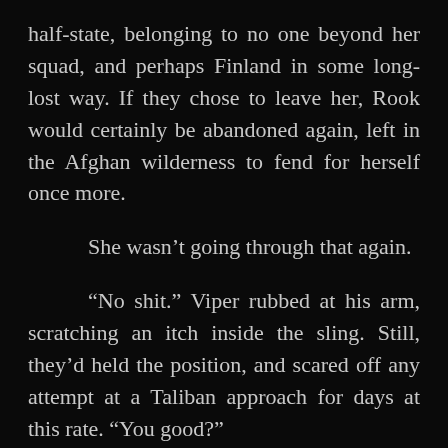half-state, belonging to no one beyond her squad, and perhaps Finland in some long-lost way. If they chose to leave her, Rook would certainly be abandoned again, left in the Afghan wilderness to fend for herself once more.
She wasn't going through that again.
“No shit.” Viper rubbed at his arm, scratching an itch inside the sling. Still, they’d held the position, and scared off any attempt at a Taliban approach for days at this rate. “You good?”
“I am ready.”